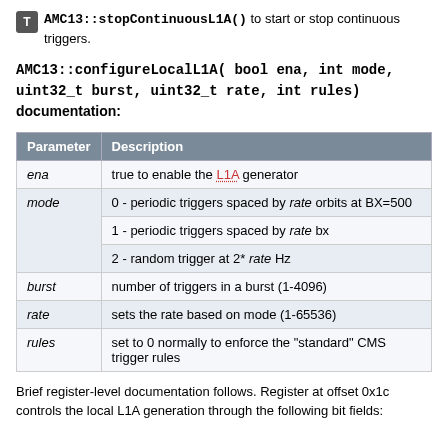AMC13::stopContinuousL1A() to start or stop continuous triggers.
AMC13::configureLocalL1A( bool ena, int mode, uint32_t burst, uint32_t rate, int rules) documentation:
| Parameter | Description |
| --- | --- |
| ena | true to enable the L1A generator |
| mode | 0 - periodic triggers spaced by rate orbits at BX=500 |
|  | 1 - periodic triggers spaced by rate bx |
|  | 2 - random trigger at 2* rate Hz |
| burst | number of triggers in a burst (1-4096) |
| rate | sets the rate based on mode (1-65536) |
| rules | set to 0 normally to enforce the "standard" CMS trigger rules |
Brief register-level documentation follows. Register at offset 0x1c controls the local L1A generation through the following bit fields: